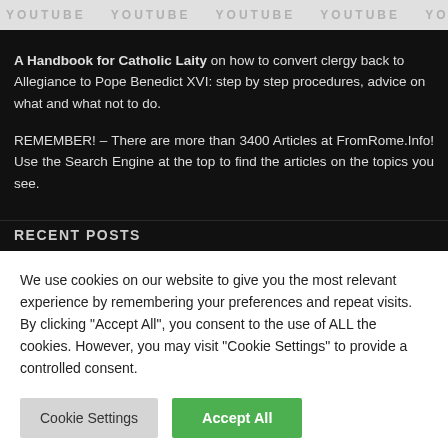[Figure (screenshot): YouTube watermark banner strip with repeated 'YOUTUBE' text in gray]
A Handbook for Catholic Laity on how to convert clergy back to Allegiance to Pope Benedict XVI: step by step procedures, advice on what and what not to do.
REMEMBER! – There are more than 3400 Articles at FromRome.Info! Use the Search Engine at the top to find the articles on the topics you see.
RECENT POSTS
We use cookies on our website to give you the most relevant experience by remembering your preferences and repeat visits. By clicking "Accept All", you consent to the use of ALL the cookies. However, you may visit "Cookie Settings" to provide a controlled consent.